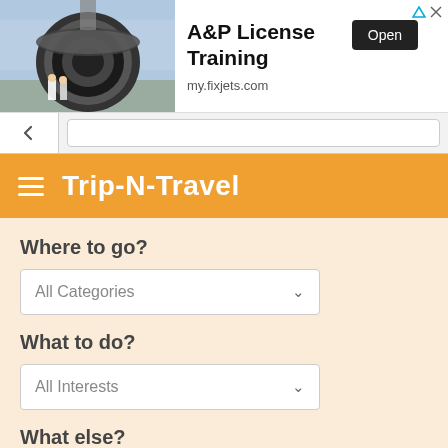[Figure (screenshot): Advertisement banner for A&P License Training at my.fixjets.com showing a jet engine image on the left, title text, Open button, and URL]
A&P License Training
my.fixjets.com
[Figure (screenshot): Browser navigation bar with back arrow chevron and URL bar]
Trip-N-Travel
Where to go?
All Categories
What to do?
All Interests
What else?
Free search...
[Figure (screenshot): Bottom advertisement banner for MBA – Business Analytics with text ENGAGE WITH THE LATEST TECH on dark purple background]